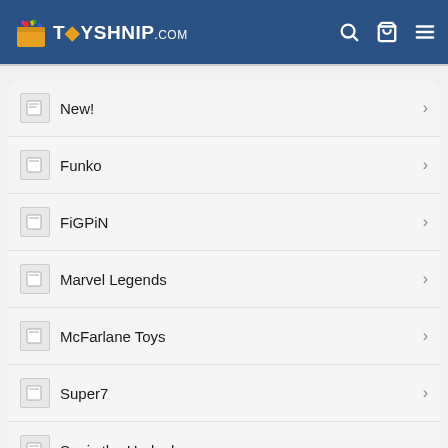TOYSHNIP.com
New!
Funko
FiGPiN
Marvel Legends
McFarlane Toys
Super7
Sonic the Hedgehog
Star Wars
Chat with us